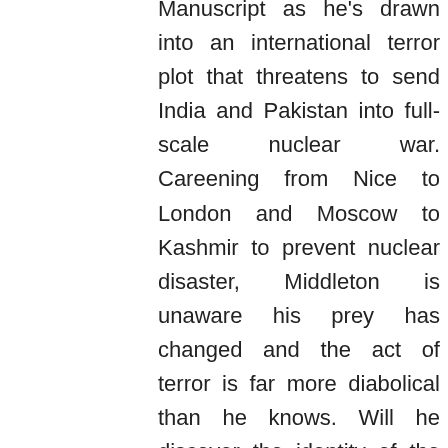Manuscript as he's drawn into an international terror plot that threatens to send India and Pakistan into full-scale nuclear war. Careening from Nice to London and Moscow to Kashmir to prevent nuclear disaster, Middleton is unaware his prey has changed and the act of terror is far more diabolical than he knows. Will he discover the identity of the Scorpion in time to halt an event that will pit the United States, China, and Russia against each other at the brink of World War III? A follow-up to the